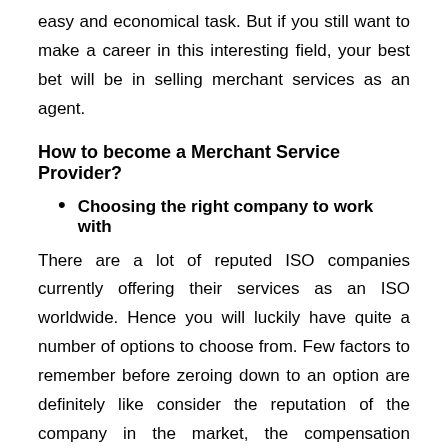easy and economical task. But if you still want to make a career in this interesting field, your best bet will be in selling merchant services as an agent.
How to become a Merchant Service Provider?
Choosing the right company to work with
There are a lot of reputed ISO companies currently offering their services as an ISO worldwide. Hence you will luckily have quite a number of options to choose from. Few factors to remember before zeroing down to an option are definitely like consider the reputation of the company in the market, the compensation packages, human resource management policies, etc are among the few aspects to remember.